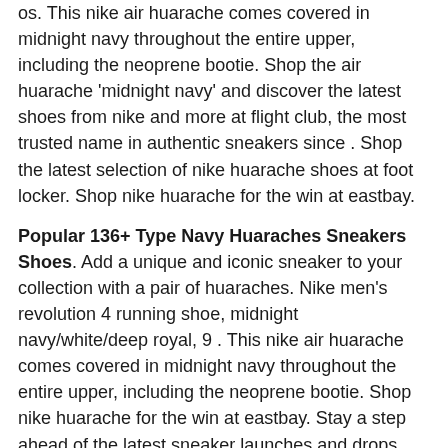os. This nike air huarache comes covered in midnight navy throughout the entire upper, including the neoprene bootie. Shop the air huarache 'midnight navy' and discover the latest shoes from nike and more at flight club, the most trusted name in authentic sneakers since . Shop the latest selection of nike huarache shoes at foot locker. Shop nike huarache for the win at eastbay.
Popular 136+ Type Navy Huaraches Sneakers Shoes. Add a unique and iconic sneaker to your collection with a pair of huaraches. Nike men's revolution 4 running shoe, midnight navy/white/deep royal, 9 . This nike air huarache comes covered in midnight navy throughout the entire upper, including the neoprene bootie. Shop nike huarache for the win at eastbay. Stay a step ahead of the latest sneaker launches and drops.
Add a unique and iconic sneaker to your collection with a pair of huaraches navy huaraches